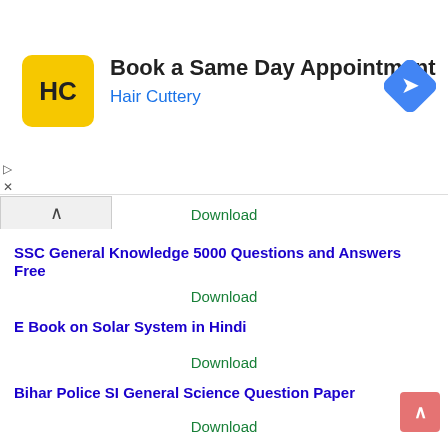[Figure (infographic): Advertisement banner for Hair Cuttery showing logo, 'Book a Same Day Appointment' text, and a blue navigation arrow icon]
Download
SSC General Knowledge 5000 Questions and Answers Free
Download
E Book on Solar System in Hindi
Download
Bihar Police SI General Science Question Paper
Download
Bihar Police SI General Studies Question Paper -1
Download